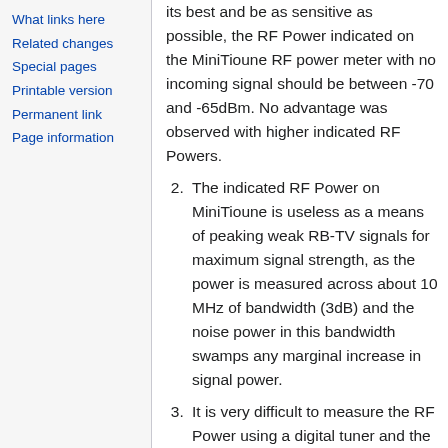What links here
Related changes
Special pages
Printable version
Permanent link
Page information
its best and be as sensitive as possible, the RF Power indicated on the MiniTioune RF power meter with no incoming signal should be between -70 and -65dBm. No advantage was observed with higher indicated RF Powers.
2. The indicated RF Power on MiniTioune is useless as a means of peaking weak RB-TV signals for maximum signal strength, as the power is measured across about 10 MHz of bandwidth (3dB) and the noise power in this bandwidth swamps any marginal increase in signal power.
3. It is very difficult to measure the RF Power using a digital tuner and the indications on MiniTioune